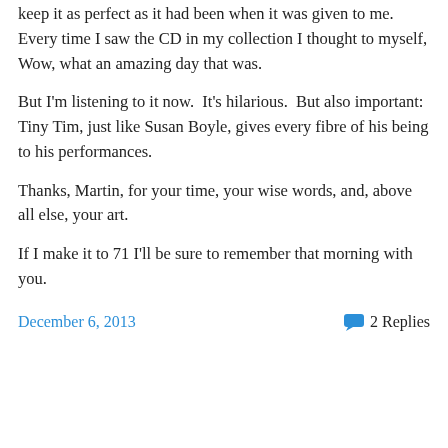keep it as perfect as it had been when it was given to me. Every time I saw the CD in my collection I thought to myself, Wow, what an amazing day that was.
But I'm listening to it now.  It's hilarious.  But also important: Tiny Tim, just like Susan Boyle, gives every fibre of his being to his performances.
Thanks, Martin, for your time, your wise words, and, above all else, your art.
If I make it to 71 I'll be sure to remember that morning with you.
December 6, 2013   2 Replies